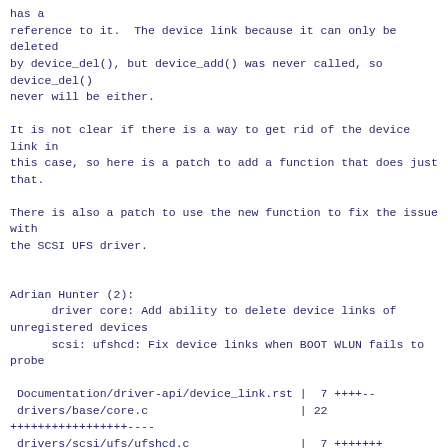has a
reference to it.  The device link because it can only be deleted
by device_del(), but device_add() was never called, so device_del()
never will be either.
It is not clear if there is a way to get rid of the device link in
this case, so here is a patch to add a function that does just that.
There is also a patch to use the new function to fix the issue with
the SCSI UFS driver.
Adrian Hunter (2):
      driver core: Add ability to delete device links of unregistered devices
      scsi: ufshcd: Fix device links when BOOT WLUN fails to probe
Documentation/driver-api/device_link.rst |  7 ++++--
 drivers/base/core.c                      | 22 +++++++++++++++++----
 drivers/scsi/ufs/ufshcd.c                |  7 +++++++
 include/linux/device.h                   |  1 +
 4 files changed, 32 insertions(+), 5 deletions(-)